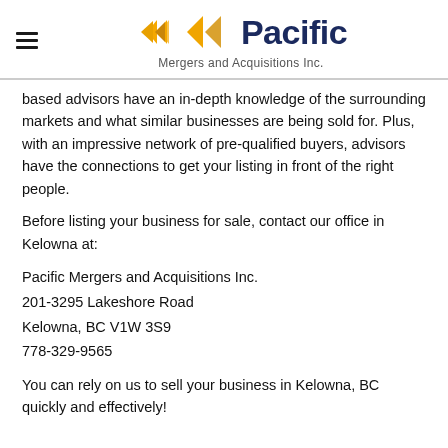Pacific Mergers and Acquisitions Inc.
based advisors have an in-depth knowledge of the surrounding markets and what similar businesses are being sold for. Plus, with an impressive network of pre-qualified buyers, advisors have the connections to get your listing in front of the right people.
Before listing your business for sale, contact our office in Kelowna at:
Pacific Mergers and Acquisitions Inc.
201-3295 Lakeshore Road
Kelowna, BC V1W 3S9
778-329-9565
You can rely on us to sell your business in Kelowna, BC quickly and effectively!